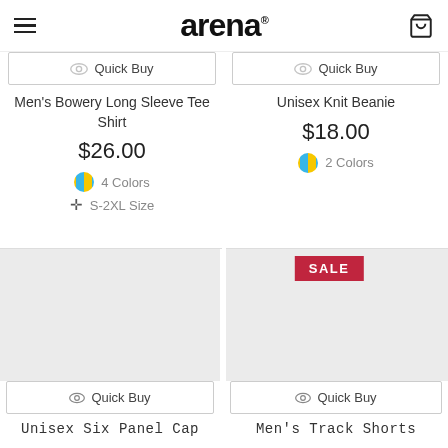arena (logo), hamburger menu, cart icon
Quick Buy
Men's Bowery Long Sleeve Tee Shirt
$26.00
4 Colors
S-2XL Size
Quick Buy
Unisex Knit Beanie
$18.00
2 Colors
SALE
Quick Buy
Unisex Six Panel Cap
Quick Buy
Men's Track Shorts